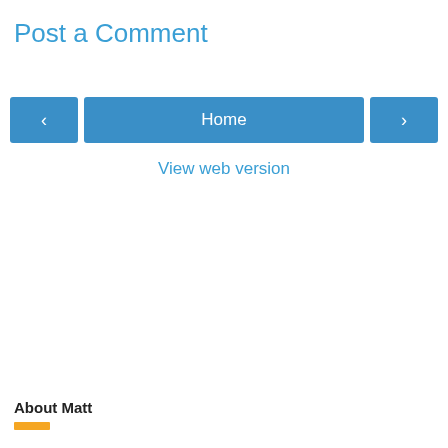Post a Comment
Home
View web version
About Matt